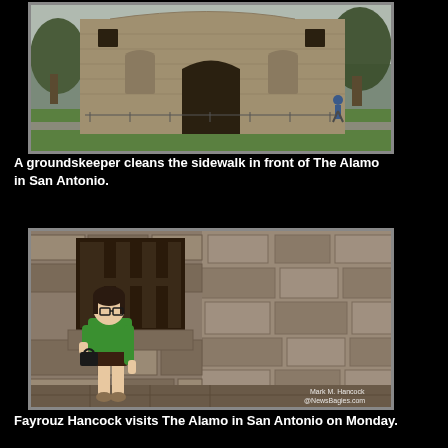[Figure (photo): Exterior facade of The Alamo mission building in San Antonio, showing the stone front with ornate doorway, green lawn in front, and a groundskeeper figure visible on the sidewalk. Trees visible on either side.]
A groundskeeper cleans the sidewalk in front of The Alamo in San Antonio.
[Figure (photo): A woman (Fayrouz Hancock) in a green polo shirt and dark shorts leans against the stone wall of The Alamo in San Antonio. A wooden-framed window is visible behind her. Watermark reads: Mark M. Hancock / @NewsBagies.com]
Fayrouz Hancock visits The Alamo in San Antonio on Monday.